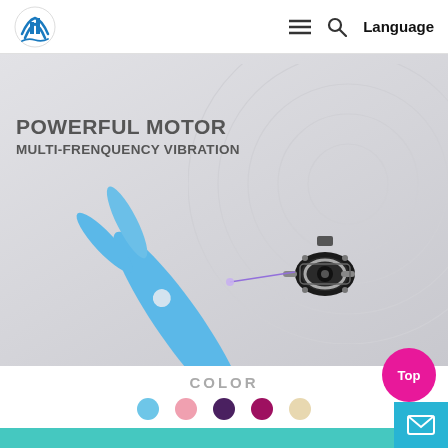Logo | ≡ 🔍 Language
POWERFUL MOTOR
MULTI-FRENQUENCY VIBRATION
[Figure (photo): Blue vibrator toy with exposed motor inset, concentric circle background pattern. Product feature diagram showing internal motor with purple pointer line.]
COLOR
[Figure (infographic): Five color swatches: light blue, pink, dark purple, magenta/dark pink, beige/cream]